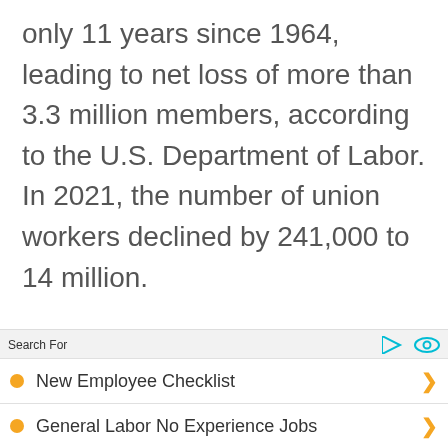only 11 years since 1964, leading to net loss of more than 3.3 million members, according to the U.S. Department of Labor. In 2021, the number of union workers declined by 241,000 to 14 million.
Search For
New Employee Checklist
General Labor No Experience Jobs